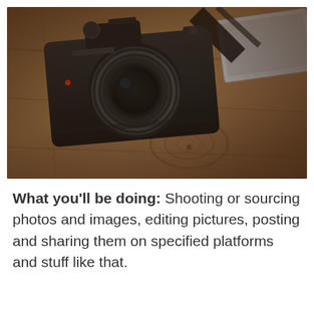[Figure (photo): A vintage black DSLR film camera with a large lens lying on a wooden surface next to a laptop computer. The photo has a warm, slightly desaturated vintage tone.]
What you'll be doing: Shooting or sourcing photos and images, editing pictures, posting and sharing them on specified platforms and stuff like that.